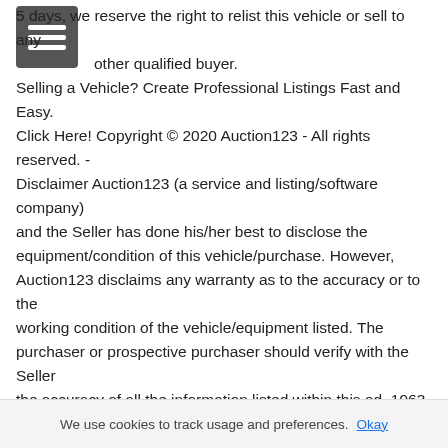5 days, we reserve the right to relist this vehicle or sell to any other qualified buyer. Selling a Vehicle? Create Professional Listings Fast and Easy. Click Here! Copyright © 2020 Auction123 - All rights reserved. - Disclaimer Auction123 (a service and listing/software company) and the Seller has done his/her best to disclose the equipment/condition of this vehicle/purchase. However, Auction123 disclaims any warranty as to the accuracy or to the working condition of the vehicle/equipment listed. The purchaser or prospective purchaser should verify with the Seller the accuracy of all the information listed within this ad. 1963 Cessna 172D Skyhawk for Sale in Hendersonville, TN 37075 1963 Cessna 172D Skyhawk Offered for Sale. Engine Cont Motor 0-300 Ser Serial # 17250319 TTSN 2,321 TSOH 1,572 Prop Sensenich 74DC-0-5 TSOH 889 Exterior Colors Green/White N# N2719U No Damage History Always Hangared& Current date: 2020-04-02
We use cookies to track usage and preferences. Okay